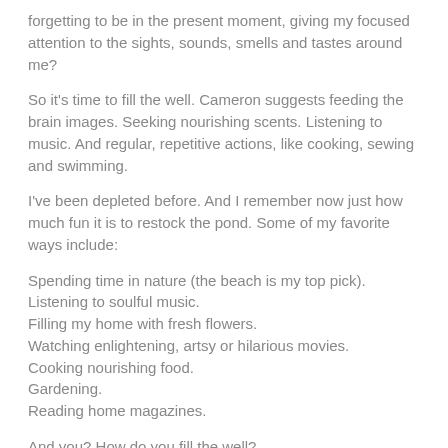forgetting to be in the present moment, giving my focused attention to the sights, sounds, smells and tastes around me?
So it's time to fill the well. Cameron suggests feeding the brain images. Seeking nourishing scents. Listening to music. And regular, repetitive actions, like cooking, sewing and swimming.
I've been depleted before. And I remember now just how much fun it is to restock the pond. Some of my favorite ways include:
Spending time in nature (the beach is my top pick).
Listening to soulful music.
Filling my home with fresh flowers.
Watching enlightening, artsy or hilarious movies.
Cooking nourishing food.
Gardening.
Reading home magazines.
And you? How do you fill the well?